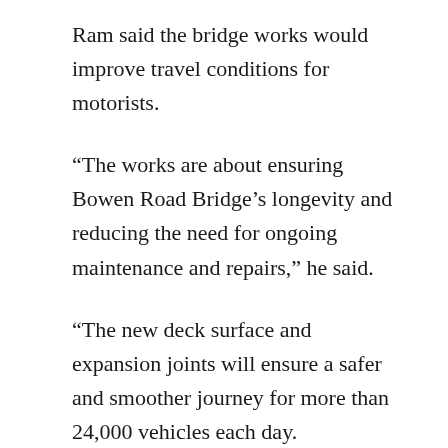Ram said the bridge works would improve travel conditions for motorists.
“The works are about ensuring Bowen Road Bridge’s longevity and reducing the need for ongoing maintenance and repairs,” he said.
“The new deck surface and expansion joints will ensure a safer and smoother journey for more than 24,000 vehicles each day.
“Over the past two years, we have completed a significant program of works on the Bowen Road Bridge to ensure this vital link between Townsville and the southern and western suburbs remains strong, safe and operational into the future.